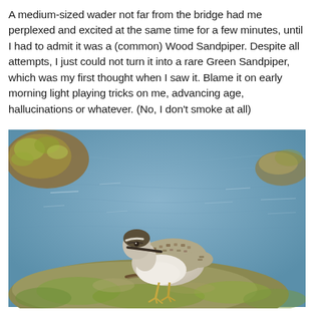A medium-sized wader not far from the bridge had me perplexed and excited at the same time for a few minutes, until I had to admit it was a (common) Wood Sandpiper. Despite all attempts, I just could not turn it into a rare Green Sandpiper, which was my first thought when I saw it. Blame it on early morning light playing tricks on me, advancing age, hallucinations or whatever. (No, I don't smoke at all)
[Figure (photo): A Wood Sandpiper bird standing on mossy, algae-covered rocks near water. The bird has a brownish-speckled back, white underparts, a dark cap with a pale supercilium stripe, and a long straight bill. The background shows blue-grey rippled water.]